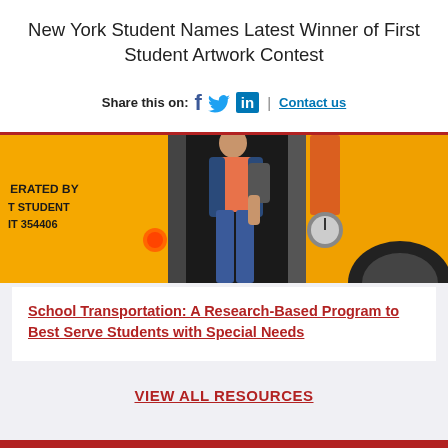New York Student Names Latest Winner of First Student Artwork Contest
Share this on: [Facebook] [Twitter] [LinkedIn] | Contact us
[Figure (photo): A student stepping off a yellow school bus. The bus side reads OPERATED BY FIRST STUDENT and the number 354406.]
School Transportation: A Research-Based Program to Best Serve Students with Special Needs
VIEW ALL RESOURCES